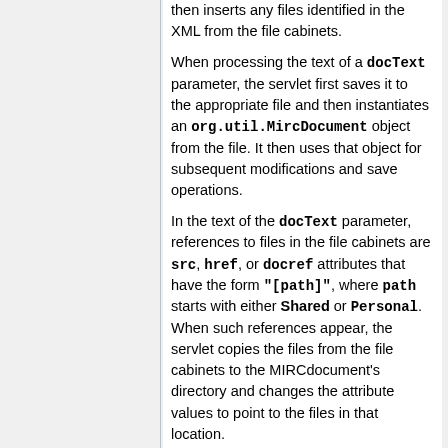then inserts any files identified in the XML from the file cabinets.
When processing the text of a docText parameter, the servlet first saves it to the appropriate file and then instantiates an org.util.MircDocument object from the file. It then uses that object for subsequent modifications and save operations.
In the text of the docText parameter, references to files in the file cabinets are src, href, or docref attributes that have the form "[path]", where path starts with either Shared or Personal. When such references appear, the servlet copies the files from the file cabinets to the MIRCdocument's directory and changes the attribute values to point to the files in that location.